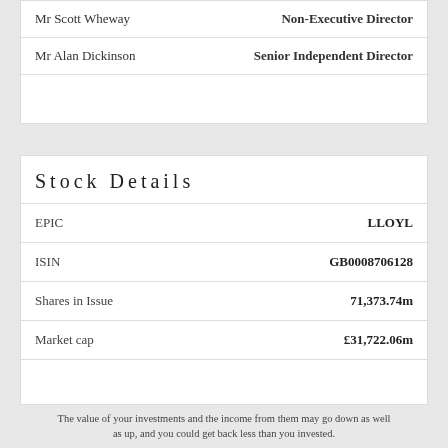| Name | Role |
| --- | --- |
| Mr Scott Wheway | Non-Executive Director |
| Mr Alan Dickinson | Senior Independent Director |
|  |  |
Stock Details
| Field | Value |
| --- | --- |
| EPIC | LLOYL |
| ISIN | GB0008706128 |
| Shares in Issue | 71,373.74m |
| Market cap | £31,722.06m |
|  |  |
The value of your investments and the income from them may go down as well as up, and you could get back less than you invested.